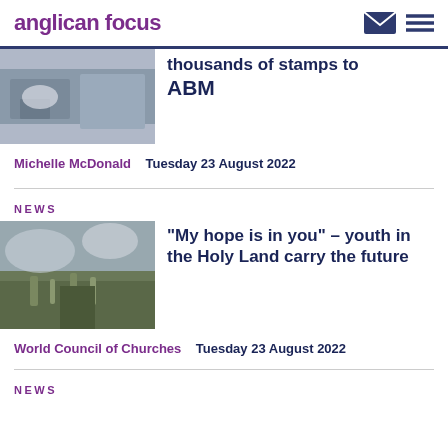anglican focus
thousands of stamps to ABM
Michelle McDonald   Tuesday 23 August 2022
NEWS
“My hope is in you” – youth in the Holy Land carry the future
World Council of Churches   Tuesday 23 August 2022
NEWS